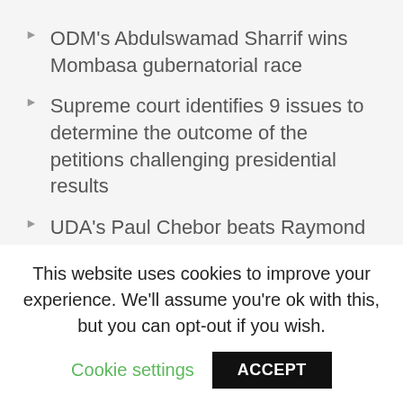ODM's Abdulswamad Sharrif wins Mombasa gubernatorial race
Supreme court identifies 9 issues to determine the outcome of the petitions challenging presidential results
UDA's Paul Chebor beats Raymond Moi In Rongai MP Race
Wiper's David Mwalika retains Kitui Rural Parliamentary seat
Titus Lotee of KUP as the new Kacheliba MP
Each party to have at most 4 lawyers at Supreme…
This website uses cookies to improve your experience. We'll assume you're ok with this, but you can opt-out if you wish.
Cookie settings | ACCEPT